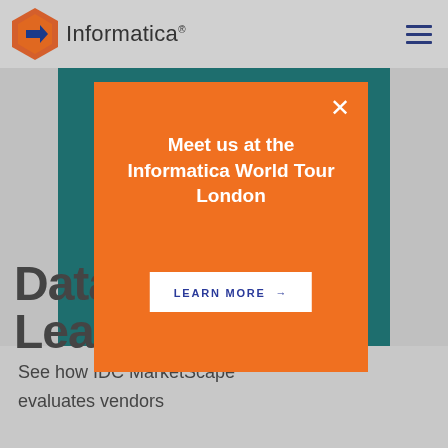Informatica
[Figure (screenshot): Informatica website screenshot with orange modal popup overlay on teal background image. Modal reads 'Meet us at the Informatica World Tour London' with a LEARN MORE button. Behind modal: large heading 'Data Catalog Leader' and subtext 'See how IDC MarketScape evaluates vendors'.]
Data Catalog Leader
See how IDC MarketScape evaluates vendors